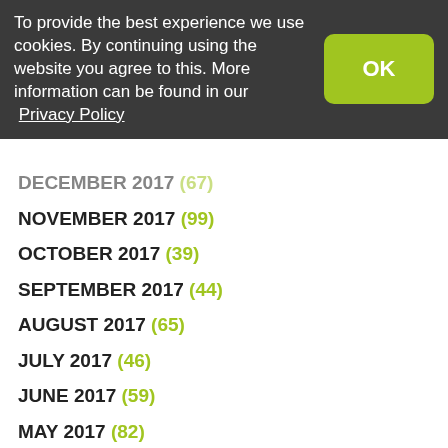To provide the best experience we use cookies. By continuing using the website you agree to this. More information can be found in our Privacy Policy
DECEMBER 2017 (partially visible)
NOVEMBER 2017 (99)
OCTOBER 2017 (39)
SEPTEMBER 2017 (44)
AUGUST 2017 (65)
JULY 2017 (46)
JUNE 2017 (59)
MAY 2017 (82)
APRIL 2017 (33)
MARCH 2017 (70)
FEBRUARY 2017 (33)
JANUARY 2017 (45)
DECEMBER 2016 (29)
NOVEMBER 2016 (49)
OCTOBER 2016 (34)
SEPTEMBER 2016 (53)
AUGUST 2016 (17)
JULY 2016 (44) (partially visible)